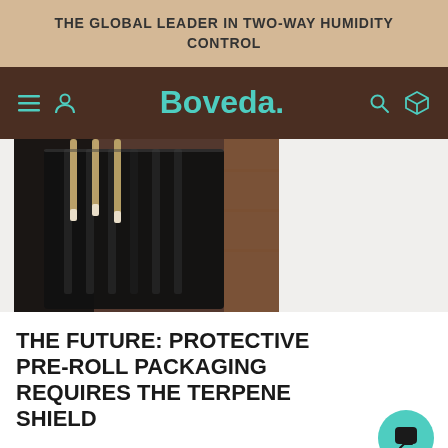THE GLOBAL LEADER IN TWO-WAY HUMIDITY CONTROL
[Figure (logo): Boveda logo in teal/mint color on dark brown navigation bar with hamburger menu, user icon on left, and search and package icons on right]
[Figure (photo): Close-up photo of pre-roll cannabis joints in a black multi-compartment container/holder against a dark background]
THE FUTURE: PROTECTIVE PRE-ROLL PACKAGING REQUIRES THE TERPENE SHIELD
With such dramatic success already in the bag,